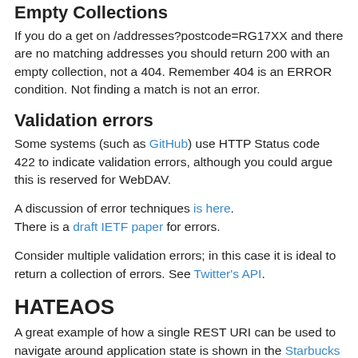Empty Collections
If you do a get on /addresses?postcode=RG17XX and there are no matching addresses you should return 200 with an empty collection, not a 404. Remember 404 is an ERROR condition. Not finding a match is not an error.
Validation errors
Some systems (such as GitHub) use HTTP Status code 422 to indicate validation errors, although you could argue this is reserved for WebDAV.
A discussion of error techniques is here.
There is a draft IETF paper for errors.
Consider multiple validation errors; in this case it is ideal to return a collection of errors. See Twitter's API.
HATEAOS
A great example of how a single REST URI can be used to navigate around application state is shown in the Starbucks example. Perfoming a POST (Create) of a resource returns the possible actions that may be performed thereafter.